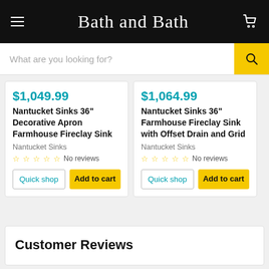Bath and Bath
What are you looking for?
$1,049.99
Nantucket Sinks 36" Decorative Apron Farmhouse Fireclay Sink
Nantucket Sinks
No reviews
$1,064.99
Nantucket Sinks 36" Farmhouse Fireclay Sink with Offset Drain and Grid
Nantucket Sinks
No reviews
Customer Reviews